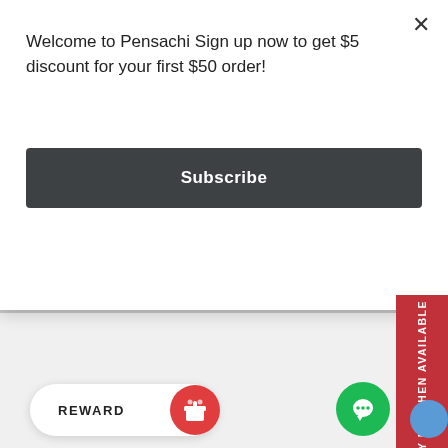Welcome to Pensachi Sign up now to get $5 discount for your first $50 order!
Subscribe
MORE INFORMATION
PRIVACY POLICY
HANDLING PROCESS
SHIPPING
WARRANTY & RETURN
POINTSACHI
NOTIFY ME WHEN AVAILABLE
REWARD